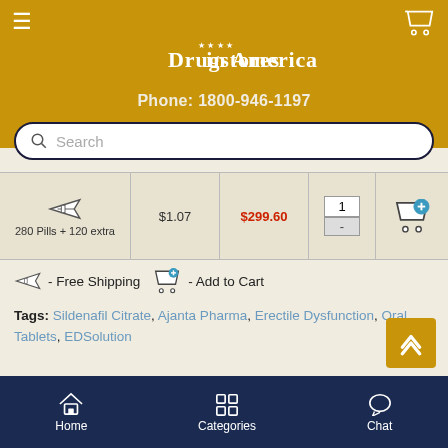Drugstores in America | Phone: 1800-946-1197
[Figure (screenshot): Search bar with magnifying glass icon and placeholder text 'Search']
| Package | Per Pill | Total Price | Qty | Add |
| --- | --- | --- | --- | --- |
| 280 Pills + 120 extra | $1.07 | $299.60 | 1 | Add to Cart |
✈ - Free Shipping   🛒 - Add to Cart
Tags: Sildenafil Citrate, Ajanta Pharma, Erectile Dysfunction, Oral Tablets, EDSolution
Home | Categories | Chat